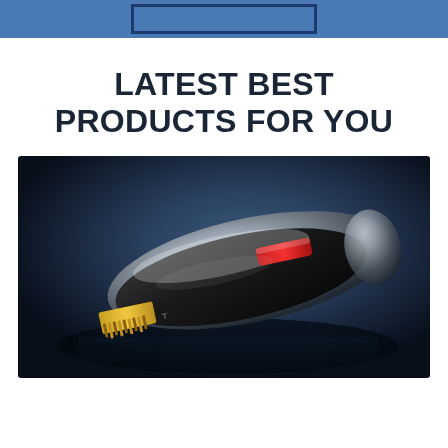LATEST BEST PRODUCTS FOR YOU
[Figure (photo): A black and silver professional hair clipper with gold/yellow blade teeth and a red accent, photographed on a dark blue background with dramatic studio lighting and a shadow reflection beneath it.]